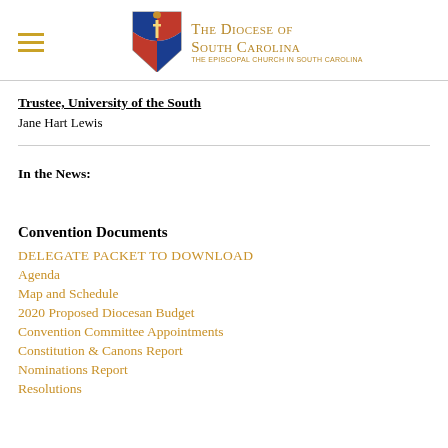The Diocese of South Carolina — The Episcopal Church in South Carolina
Trustee, University of the South
Jane Hart Lewis
In the News:
Convention Documents
DELEGATE PACKET TO DOWNLOAD
Agenda
Map and Schedule
2020 Proposed Diocesan Budget
Convention Committee Appointments
Constitution & Canons Report
Nominations Report
Resolutions